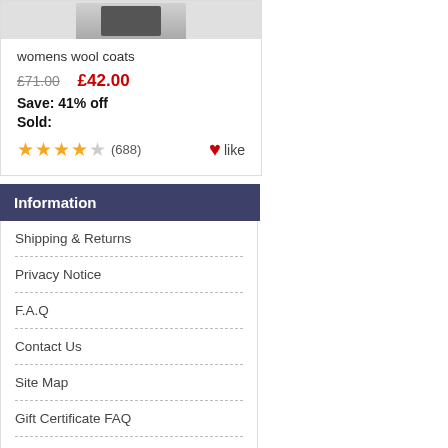[Figure (photo): Partial product image of a womens coat, cropped at top]
womens wool coats
£71.00  £42.00
Save: 41% off
Sold:
★★★★☆ (688)  ❤like
Information
Shipping & Returns
Privacy Notice
F.A.Q
Contact Us
Site Map
Gift Certificate FAQ
Discount Coupons
Newsletter Unsubscribe
Who's Online